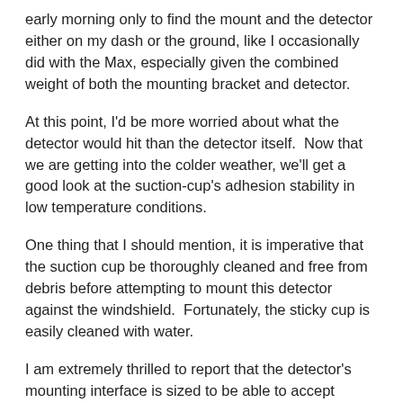early morning only to find the mount and the detector either on my dash or the ground, like I occasionally did with the Max, especially given the combined weight of both the mounting bracket and detector.
At this point, I'd be more worried about what the detector would hit than the detector itself.  Now that we are getting into the colder weather, we'll get a good look at the suction-cup's adhesion stability in low temperature conditions.
One thing that I should mention, it is imperative that the suction cup be thoroughly cleaned and free from debris before attempting to mount this detector against the windshield.  Fortunately, the sticky cup is easily cleaned with water.
I am extremely thrilled to report that the detector's mounting interface is sized to be able to accept Escort's and Beltronics' conventional mounting two-suction-cup brackets.  I absolutely love this.  In fact, I actually prefer to use the other brackets because they are far less bulky and allow for more usable